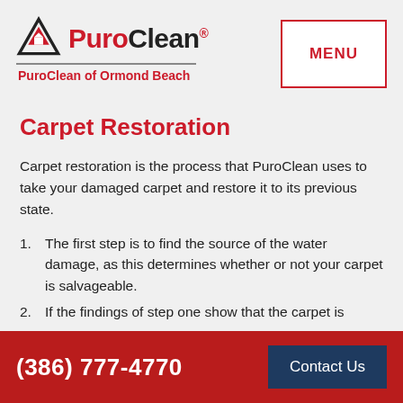PuroClean of Ormond Beach | MENU
Carpet Restoration
Carpet restoration is the process that PuroClean uses to take your damaged carpet and restore it to its previous state.
1. The first step is to find the source of the water damage, as this determines whether or not your carpet is salvageable.
2. If the findings of step one show that the carpet is
(386) 777-4770  Contact Us